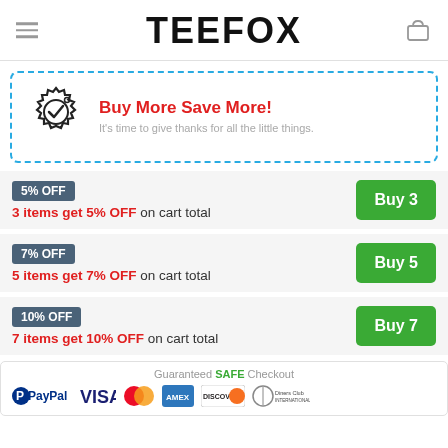TEEFOX
[Figure (infographic): Buy More Save More promotional banner with dashed blue border, badge/seal icon on left, red headline 'Buy More Save More!' and gray subtext 'It's time to give thanks for all the little things.']
5% OFF — 3 items get 5% OFF on cart total — Buy 3
7% OFF — 5 items get 7% OFF on cart total — Buy 5
10% OFF — 7 items get 10% OFF on cart total — Buy 7
[Figure (infographic): Guaranteed SAFE Checkout banner with PayPal, Visa, Mastercard, American Express, Discover, and Diners Club International payment logos]